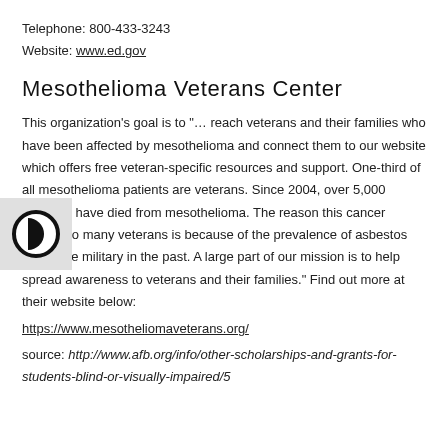Telephone: 800-433-3243
Website: www.ed.gov
Mesothelioma Veterans Center
This organization's goal is to "… reach veterans and their families who have been affected by mesothelioma and connect them to our website which offers free veteran-specific resources and support. One-third of all mesothelioma patients are veterans. Since 2004, over 5,000 veterans have died from mesothelioma. The reason this cancer targets so many veterans is because of the prevalence of asbestos use in the military in the past. A large part of our mission is to help spread awareness to veterans and their families." Find out more at their website below:
https://www.mesotheliomaveterans.org/
source: http://www.afb.org/info/other-scholarships-and-grants-for-students-blind-or-visually-impaired/5